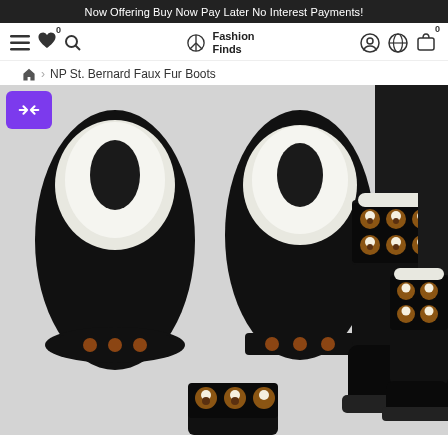Now Offering Buy Now Pay Later No Interest Payments!
[Figure (screenshot): Navigation bar with hamburger menu, heart icon with badge 0, search icon, Fashion Finds logo (peace symbol), account icon, globe icon, shopping bag icon with badge 0]
NP St. Bernard Faux Fur Boots
[Figure (photo): Product page showing NP St. Bernard Faux Fur Boots. Left side shows two top-down views of black faux fur boots with white fur lining and St. Bernard dog face pattern around the cuff. Right side shows two boots being worn, one at ankle height and one mid-calf, featuring a black background with repeating St. Bernard dog face pattern in brown, white and black. A purple expand/zoom button is overlaid in the top left corner.]